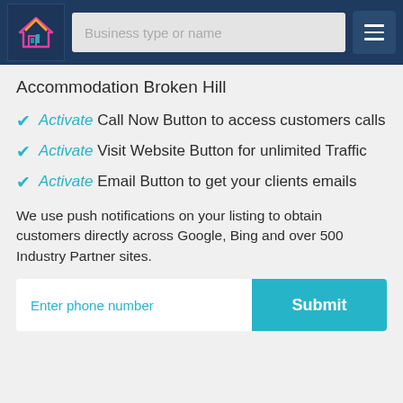Business type or name
Accommodation Broken Hill
Activate Call Now Button to access customers calls
Activate Visit Website Button for unlimited Traffic
Activate Email Button to get your clients emails
We use push notifications on your listing to obtain customers directly across Google, Bing and over 500 Industry Partner sites.
Enter phone number | Submit